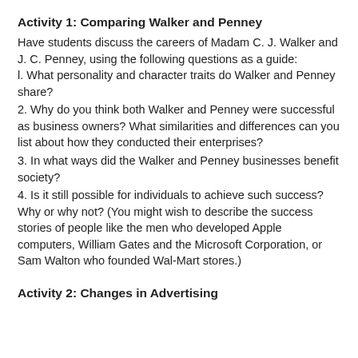Activity 1: Comparing Walker and Penney
Have students discuss the careers of Madam C. J. Walker and J. C. Penney, using the following questions as a guide:
l. What personality and character traits do Walker and Penney share?
2. Why do you think both Walker and Penney were successful as business owners? What similarities and differences can you list about how they conducted their enterprises?
3. In what ways did the Walker and Penney businesses benefit society?
4. Is it still possible for individuals to achieve such success? Why or why not? (You might wish to describe the success stories of people like the men who developed Apple computers, William Gates and the Microsoft Corporation, or Sam Walton who founded Wal-Mart stores.)
Activity 2: Changes in Advertising